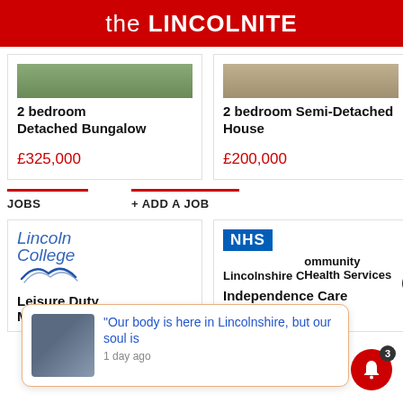the LINCOLNITE
2 bedroom Detached Bungalow
£325,000
2 bedroom Semi-Detached House
£200,000
5 be Det
£33
JOBS	+ ADD A JOB
[Figure (logo): Lincoln College logo with stylised check mark]
[Figure (logo): NHS Lincolnshire Community Health Services logo]
Leisure Duty M...
Independence Care A...
"Our body is here in Lincolnshire, but our soul is
1 day ago